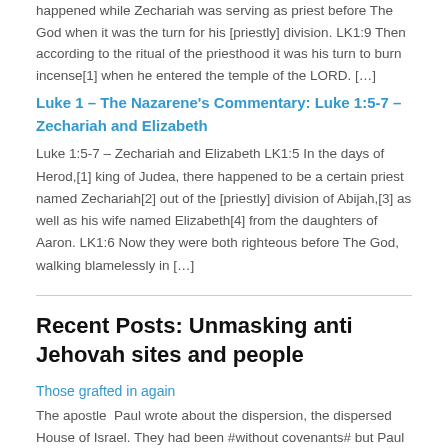happened while Zechariah was serving as priest before The God when it was the turn for his [priestly] division. LK1:9 Then according to the ritual of the priesthood it was his turn to burn incense[1] when he entered the temple of the LORD. […]
Luke 1 – The Nazarene's Commentary: Luke 1:5-7 – Zechariah and Elizabeth
Luke 1:5-7 – Zechariah and Elizabeth LK1:5 In the days of Herod,[1] king of Judea, there happened to be a certain priest named Zechariah[2] out of the [priestly] division of Abijah,[3] as well as his wife named Elizabeth[4] from the daughters of Aaron. LK1:6 Now they were both righteous before The God, walking blamelessly in […]
Recent Posts: Unmasking anti Jehovah sites and people
Those grafted in again
The apostle  Paul wrote about the dispersion, the dispersed House of Israel. They had been #without covenants# but Paul was sent out to